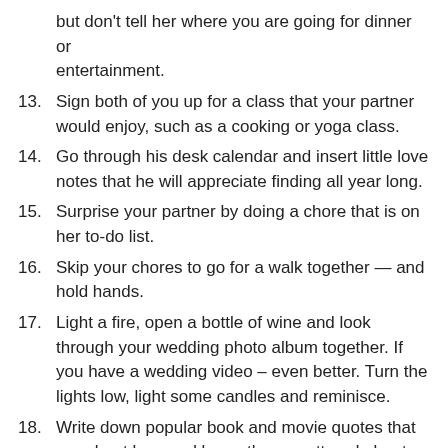but don't tell her where you are going for dinner or entertainment.
13. Sign both of you up for a class that your partner would enjoy, such as a cooking or yoga class.
14. Go through his desk calendar and insert little love notes that he will appreciate finding all year long.
15. Surprise your partner by doing a chore that is on her to-do list.
16. Skip your chores to go for a walk together — and hold hands.
17. Light a fire, open a bottle of wine and look through your wedding photo album together. If you have a wedding video – even better. Turn the lights low, light some candles and reminisce.
18. Write down popular book and movie quotes that are about love and leave them scattered about the house for your partner to find.